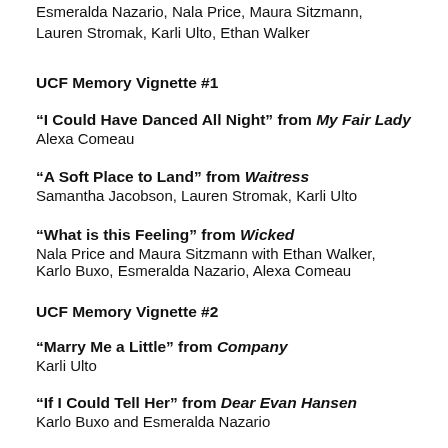Esmeralda Nazario, Nala Price, Maura Sitzmann, Lauren Stromak, Karli Ulto, Ethan Walker
UCF Memory Vignette #1
“I Could Have Danced All Night” from My Fair Lady
Alexa Comeau
“A Soft Place to Land” from Waitress
Samantha Jacobson, Lauren Stromak, Karli Ulto
“What is this Feeling” from Wicked
Nala Price and Maura Sitzmann with Ethan Walker, Karlo Buxo, Esmeralda Nazario, Alexa Comeau
UCF Memory Vignette #2
“Marry Me a Little” from Company
Karli Ulto
“If I Could Tell Her” from Dear Evan Hansen
Karlo Buxo and Esmeralda Nazario
“I’d Rather Be Me” from Mean Girls